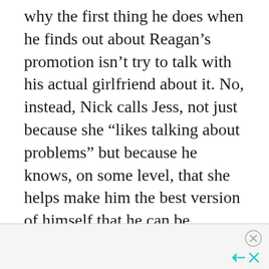why the first thing he does when he finds out about Reagan’s promotion isn’t try to talk with his actual girlfriend about it. No, instead, Nick calls Jess, not just because she “likes talking about problems” but because he knows, on some level, that she helps make him the best version of himself that he can be.